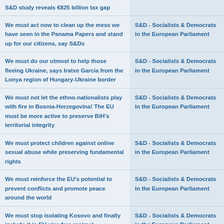| Title | Source |
| --- | --- |
| S&D study reveals €825 billion tax gap | S&D - Socialists & Democrats in the European Parliament |
| We must act now to clean up the mess we have seen in the Panama Papers and stand up for our citizens, say S&Ds | S&D - Socialists & Democrats in the European Parliament |
| We must do our utmost to help those fleeing Ukraine, says Iratxe García from the Lonya region of Hungary-Ukraine border | S&D - Socialists & Democrats in the European Parliament |
| We must not let the ethno-nationalists play with fire in Bosnia-Herzegovina! The EU must be more active to preserve BiH's territorial integrity | S&D - Socialists & Democrats in the European Parliament |
| We must protect children against online sexual abuse while preserving fundamental rights | S&D - Socialists & Democrats in the European Parliament |
| We must reinforce the EU's potential to prevent conflicts and promote peace around the world | S&D - Socialists & Democrats in the European Parliament |
| We must stop isolating Kosovo and finally include it in EU visa free regime! | S&D - Socialists & Democrats in the European Parliament |